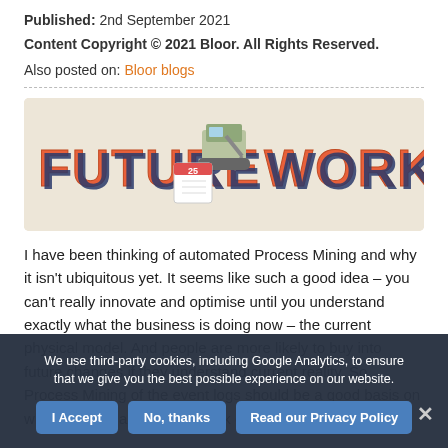Published: 2nd September 2021
Content Copyright © 2021 Bloor. All Rights Reserved.
Also posted on: Bloor blogs
[Figure (illustration): Decorative banner image with the text FUTURE WORK in large 3D block letters with an excavator and calendar graphics in between, on a beige background.]
I have been thinking of automated Process Mining and why it isn't ubiquitous yet. It seems like such a good idea – you can't really innovate and optimise until you understand exactly what the business is doing now – the current physical model. And people are more likely to buy into future changes if they understand current reality. So Process Mining of the event logs should be a good basis on which to build an evolving work environment – a
We use third-party cookies, including Google Analytics, to ensure that we give you the best possible experience on our website. I Accept  No, thanks  Read our Privacy Policy